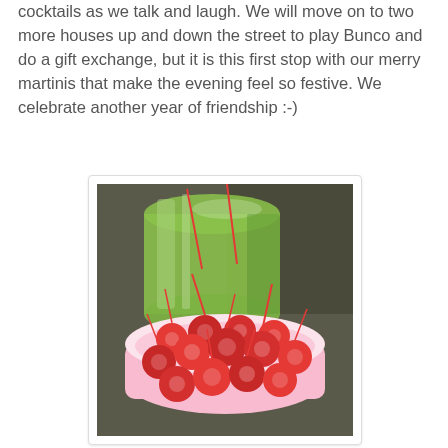cocktails as we talk and laugh. We will move on to two more houses up and down the street to play Bunco and do a gift exchange, but it is this first stop with our merry martinis that make the evening feel so festive. We celebrate another year of friendship :-)
[Figure (photo): A bowl of bright red maraschino cherries with red stems/picks, in front of a large green glass pitcher or bottle, on a dark countertop surface.]